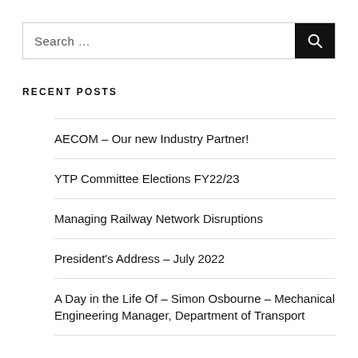Search …
RECENT POSTS
AECOM – Our new Industry Partner!
YTP Committee Elections FY22/23
Managing Railway Network Disruptions
President's Address – July 2022
A Day in the Life Of – Simon Osbourne – Mechanical Engineering Manager, Department of Transport